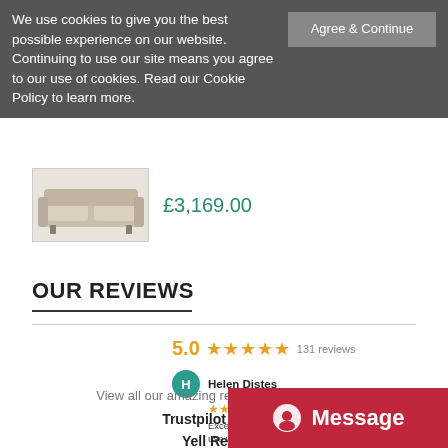We use cookies to give you the best possible experience on our website. Continuing to use our site means you agree to our use of cookies. Read our Cookie Policy to learn more.
Agree & Continue
£3,169.00
OUR REVIEWS
5.0  ★★★★★  131 reviews
Helen Distes
★★★★★  18 hours ago
Excellent overall service from a clear and easy to use web site and order process to the well managed delivery of the chair we ordered.  Contact with staff when querying product details etc through to the delivery men was always courteous, .... More
View all our amazing reviews & testimonials:
Trustpilot Reviews
Yell Reviews
Google Review
Message